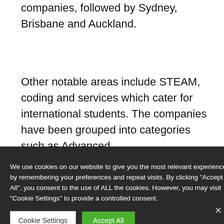companies, followed by Sydney, Brisbane and Auckland.
Other notable areas include STEAM, coding and services which cater for international students. The companies have been grouped into categories such as Advanced …guage
We use cookies on our website to give you the most relevant experience by remembering your preferences and repeat visits. By clicking "Accept All", you consent to the use of ALL the cookies. However, you may visit "Cookie Settings" to provide a controlled consent.
[Figure (screenshot): Cookie consent buttons: 'Cookie Settings' (white) and 'Accept All' (green)]
Share This
[Figure (screenshot): Partially visible company logos at the bottom of the page including edtech brands like Sentarlap, Proctare, Warrior, codmus, Cluey, vygo, and others]